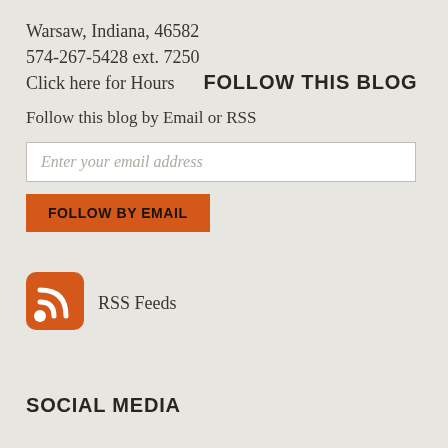Warsaw, Indiana, 46582
574-267-5428 ext. 7250
Click here for Hours
FOLLOW THIS BLOG
Follow this blog by Email or RSS
Enter your email address
FOLLOW BY EMAIL
[Figure (logo): Orange RSS feed icon]
RSS Feeds
SOCIAL MEDIA